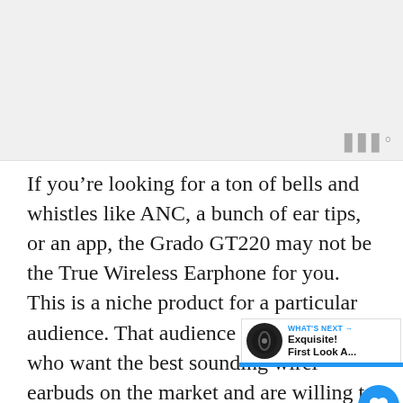[Figure (other): Advertisement or placeholder image area with gray background. Small signal/bar icon in bottom-right corner.]
If you’re looking for a ton of bells and whistles like ANC, a bunch of ear tips, or an app, the Grado GT220 may not be the True Wireless Earphone for you. This is a niche product for a particular audience. That audience is Audiophiles who want the best sounding wireless earbuds on the market and are willing to pay a premium for it.
That said, if that’s you, then you will probably be thrilled with Grado’s first TWS earbuds...